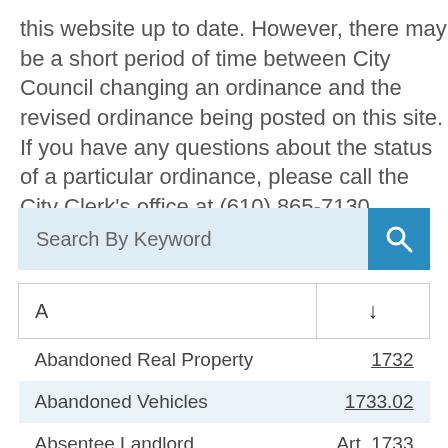this website up to date. However, there may be a short period of time between City Council changing an ordinance and the revised ordinance being posted on this site. If you have any questions about the status of a particular ordinance, please call the City Clerk's office at (610) 865-7130.
[Figure (screenshot): Search By Keyword input field with blue search button icon]
| A | ↓ |
| --- | --- |
| Abandoned Real Property | 1732 |
| Abandoned Vehicles | 1733.02 |
| Absentee Landlord | Art. 1733 |